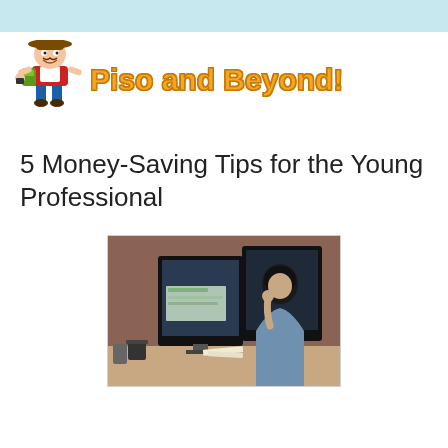[Figure (logo): Piso and Beyond! blog logo with cartoon character of a man in a hat carrying a backpack, next to orange styled text reading 'Piso and Beyond!']
5 Money-Saving Tips for the Young Professional
[Figure (photo): Photo of a young woman with dark hair sitting at a desk, looking at a large computer monitor, with a mug and papers on the desk]